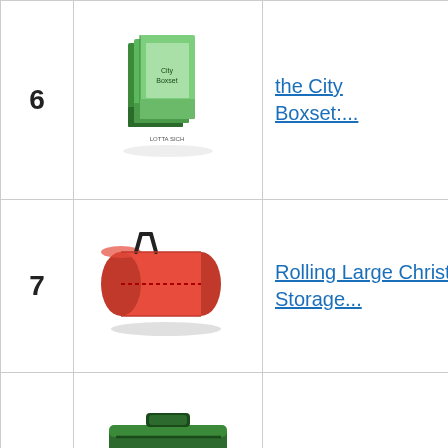| # | Image | Product | Score | Action |
| --- | --- | --- | --- | --- |
| 6 | [book boxset image] | the City Boxset:... |  | B A |
| 7 | [red bag image] | Rolling Large Christmas Tree Storage... | 8.75 | B A |
| 8 | [green duffle image] | Elf Stor Rolling Duffle Christmas... | 8.90 | B A |
| 9 | [dvd cover image] | Holiday Family Classics: The Thanksgiving... | 7.90 | B A |